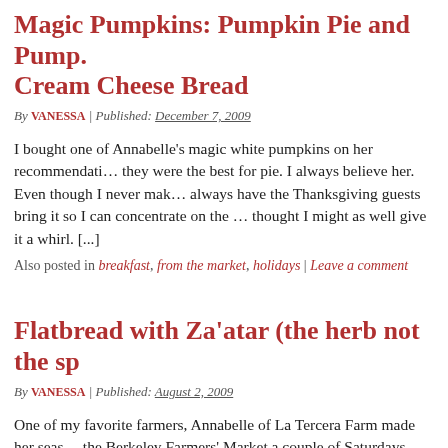Magic Pumpkins: Pumpkin Pie and Pumpkin Cream Cheese Bread
By VANESSA | Published: DECEMBER 7, 2009
I bought one of Annabelle's magic white pumpkins on her recommendation that they were the best for pie. I always believe her. Even though I never make pie, I always have the Thanksgiving guests bring it so I can concentrate on the ... thought I might as well give it a whirl. [...]
Also posted in breakfast, from the market, holidays | Leave a comment
Flatbread with Za'atar (the herb not the sp
By VANESSA | Published: AUGUST 2, 2009
One of my favorite farmers, Annabelle of La Tercera Farm made her seasonal debut at the Berkeley Farmers' Market a couple of Saturdays ago. I'm always happy to see her because she grows really great shelling and dried beans, wonderful hard squash and exotic Italian heirloom greens. Plus I love chatting with her. Annabelle al
Also posted in from the market | Leave a comment